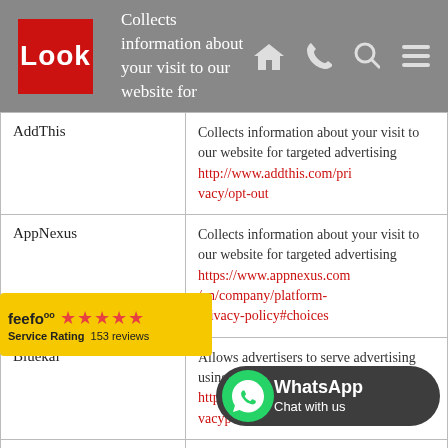Look — Collects information about your visit to our website for targeted advertising
| Provider | Description |
| --- | --- |
| AddThis | Collects information about your visit to our website for targeted advertising http://www.addthis.com/privacy/opt-out |
| AppNexus | Collects information about your visit to our website for targeted advertising https://www.appnexus.com/en/company/platform-privacy-policy#choices |
| Bluekai | Allows advertisers to serve advertising using cookies to our website http://www.bluekai.com/privacypolicy.php |
|  | Collects inform… |